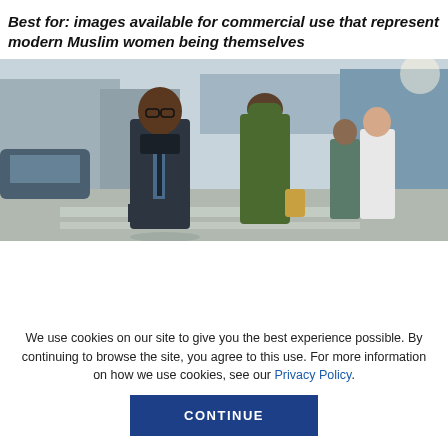Best for: images available for commercial use that represent modern Muslim women being themselves
[Figure (photo): Street scene with people crossing a road. In the foreground, a well-dressed Black man wearing glasses, a suit, tie, and dark coat. Behind him, a man in a green hoodie carrying a bag, and other pedestrians in the background on a sunny day.]
We use cookies on our site to give you the best experience possible. By continuing to browse the site, you agree to this use. For more information on how we use cookies, see our Privacy Policy.
CONTINUE